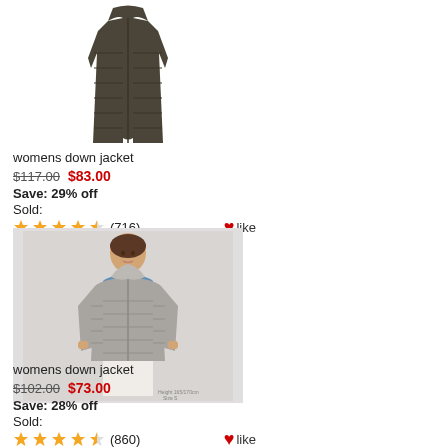[Figure (photo): Dark olive/brown long womens down puffer coat on white background]
womens down jacket
$117.00  $83.00
Save: 29% off
Sold:
(716) like
[Figure (photo): Woman wearing grey lightweight hooded down jacket over blue shirt, light grey background]
womens down jacket
$102.00  $73.00
Save: 28% off
Sold:
(860) like